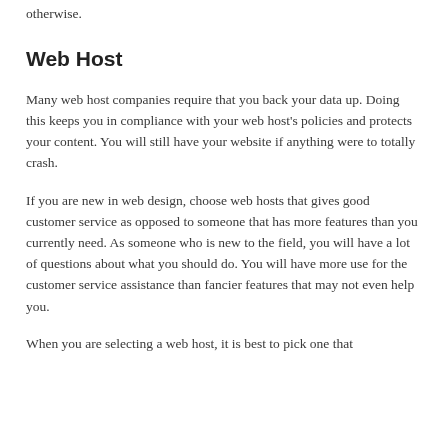otherwise.
Web Host
Many web host companies require that you back your data up. Doing this keeps you in compliance with your web host's policies and protects your content. You will still have your website if anything were to totally crash.
If you are new in web design, choose web hosts that gives good customer service as opposed to someone that has more features than you currently need. As someone who is new to the field, you will have a lot of questions about what you should do. You will have more use for the customer service assistance than fancier features that may not even help you.
When you are selecting a web host, it is best to pick one that